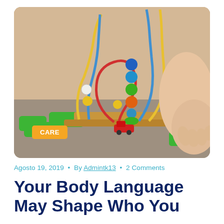[Figure (photo): A young child playing with a colorful bead maze toy on the floor, with green puzzle pieces and various colored beads visible. The child's hands are seen on the right side of the image.]
Agosto 19, 2019 • By Admintk13 • 2 Comments
Your Body Language May Shape Who You